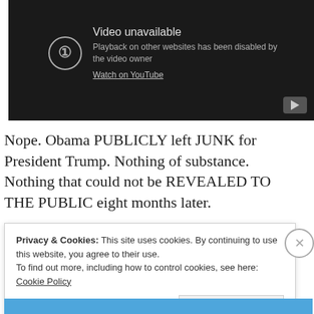[Figure (screenshot): YouTube embedded video player showing 'Video unavailable' message. Dark background with circle exclamation icon, text reads 'Video unavailable', 'Playback on other websites has been disabled by the video owner', 'Watch on YouTube'. YouTube logo button at bottom right.]
Nope. Obama PUBLICLY left JUNK for President Trump. Nothing of substance. Nothing that could not be REVEALED TO THE PUBLIC eight months later.
Privacy & Cookies: This site uses cookies. By continuing to use this website, you agree to their use.
To find out more, including how to control cookies, see here: Cookie Policy
Close and accept